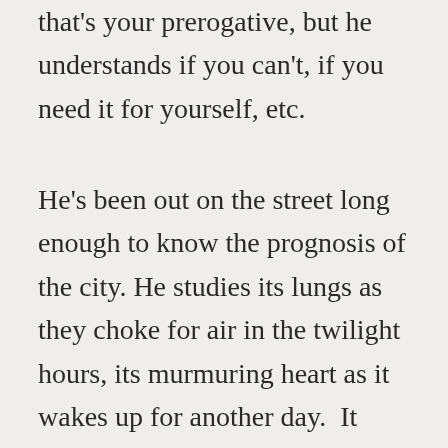that's your prerogative, but he understands if you can't, if you need it for yourself, etc.
He's been out on the street long enough to know the prognosis of the city. He studies its lungs as they choke for air in the twilight hours, its murmuring heart as it wakes up for another day.  It susurrates to itself, leaves as whispered self-encouragement, until the rain